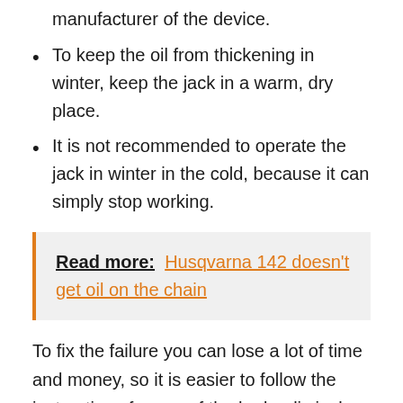manufacturer of the device.
To keep the oil from thickening in winter, keep the jack in a warm, dry place.
It is not recommended to operate the jack in winter in the cold, because it can simply stop working.
Read more: Husqvarna 142 doesn't get oil on the chain
To fix the failure you can lose a lot of time and money, so it is easier to follow the instructions for use of the hydraulic jack, and then it will last a long time and more than once will help to